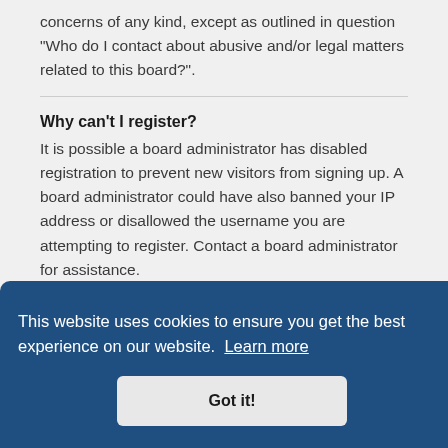concerns of any kind, except as outlined in question “Who do I contact about abusive and/or legal matters related to this board?”.
Why can’t I register?
It is possible a board administrator has disabled registration to prevent new visitors from signing up. A board administrator could have also banned your IP address or disallowed the username you are attempting to register. Contact a board administrator for assistance.
This website uses cookies to ensure you get the best experience on our website. Learn more
Got it!
instructions you received. Some boards will also